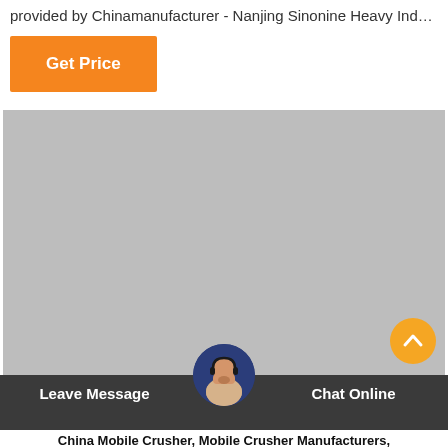provided by Chinamanufacturer - Nanjing Sinonine Heavy Indus…
Get Price
[Figure (photo): Large gray placeholder image area representing a product or content image]
Leave Message
Chat Online
China Mobile Crusher, Mobile Crusher Manufacturers,